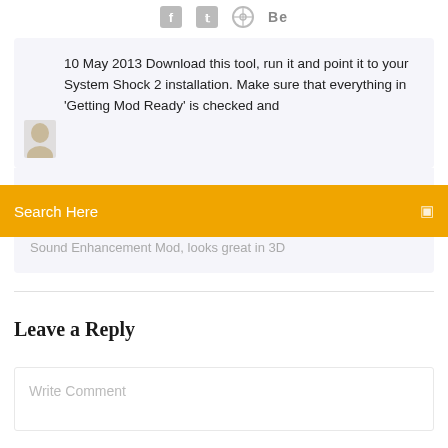[Figure (infographic): Social media share icons: Facebook, Twitter, Dribbble, Behance]
10 May 2013 Download this tool, run it and point it to your System Shock 2 installation. Make sure that everything in 'Getting Mod Ready' is checked and
Search Here
Sound Enhancement Mod, looks great in 3D
Leave a Reply
Write Comment